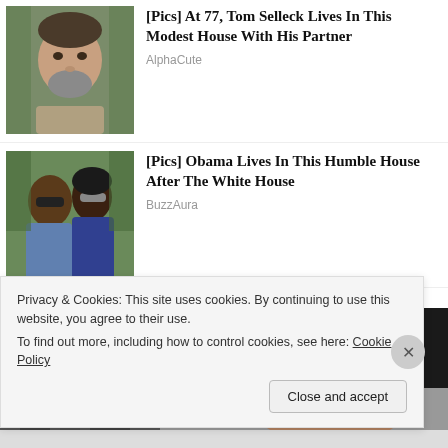[Figure (photo): Headshot of Tom Selleck, older man with grey beard, outdoors]
[Pics] At 77, Tom Selleck Lives In This Modest House With His Partner
AlphaCute
[Figure (photo): Obama and woman wearing sunglasses outdoors]
[Pics] Obama Lives In This Humble House After The White House
BuzzAura
[Figure (photo): Partial photo of woman with dark hair, partially obscured by cookie bar]
Privacy & Cookies: This site uses cookies. By continuing to use this website, you agree to their use.
To find out more, including how to control cookies, see here: Cookie Policy
Close and accept